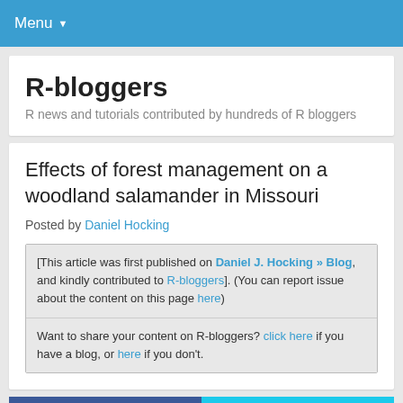Menu
R-bloggers
R news and tutorials contributed by hundreds of R bloggers
Effects of forest management on a woodland salamander in Missouri
Posted by Daniel Hocking
[This article was first published on Daniel J. Hocking » Blog, and kindly contributed to R-bloggers]. (You can report issue about the content on this page here)
Want to share your content on R-bloggers? click here if you have a blog, or here if you don't.
[Figure (other): Facebook and Twitter social sharing buttons]